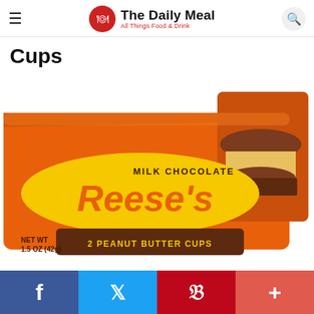The Daily Meal — All Things Food & Drink
Cups
[Figure (photo): Reese's Milk Chocolate 2 Peanut Butter Cups package, NET WT 1.5 OZ (42g), orange packaging with yellow Reese's logo and brown chocolate cup graphic]
Social share bar: Facebook, Twitter, Pinterest, More (+)